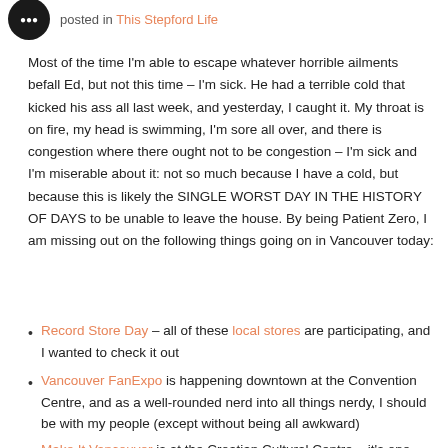posted in This Stepford Life
Most of the time I'm able to escape whatever horrible ailments befall Ed, but not this time – I'm sick. He had a terrible cold that kicked his ass all last week, and yesterday, I caught it. My throat is on fire, my head is swimming, I'm sore all over, and there is congestion where there ought not to be congestion – I'm sick and I'm miserable about it: not so much because I have a cold, but because this is likely the SINGLE WORST DAY IN THE HISTORY OF DAYS to be unable to leave the house. By being Patient Zero, I am missing out on the following things going on in Vancouver today:
Record Store Day – all of these local stores are participating, and I wanted to check it out
Vancouver FanExpo is happening downtown at the Convention Centre, and as a well-rounded nerd into all things nerdy, I should be with my people (except without being all awkward)
Make It Vancouver is at the Croatian Cultural Centre – it's one